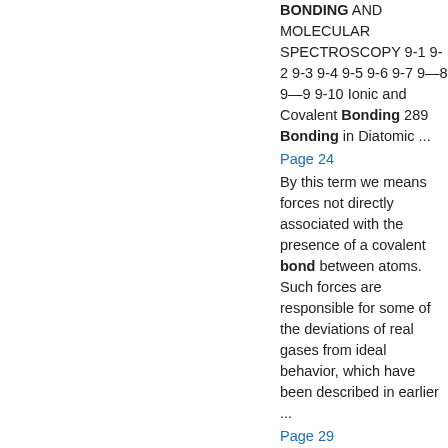BONDING AND MOLECULAR SPECTROSCOPY 9-1 9-2 9-3 9-4 9-5 9-6 9-7 9—8 9—9 9-10 Ionic and Covalent Bonding 289 Bonding in Diatomic ...
Page 24
By this term we means forces not directly associated with the presence of a covalent bond between atoms. Such forces are responsible for some of the deviations of real gases from ideal behavior, which have been described in earlier ...
Page 29
Dispersion forces are relatively large between organic molecules...